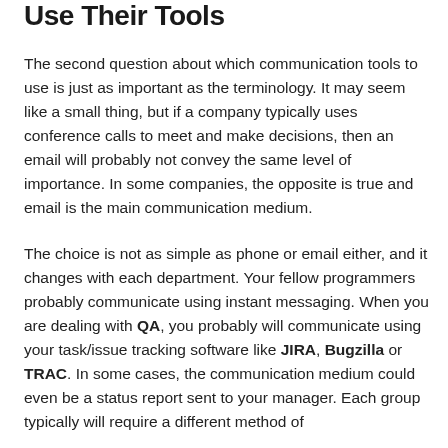Use Their Tools
The second question about which communication tools to use is just as important as the terminology. It may seem like a small thing, but if a company typically uses conference calls to meet and make decisions, then an email will probably not convey the same level of importance. In some companies, the opposite is true and email is the main communication medium.
The choice is not as simple as phone or email either, and it changes with each department. Your fellow programmers probably communicate using instant messaging. When you are dealing with QA, you probably will communicate using your task/issue tracking software like JIRA, Bugzilla or TRAC. In some cases, the communication medium could even be a status report sent to your manager. Each group typically will require a different method of